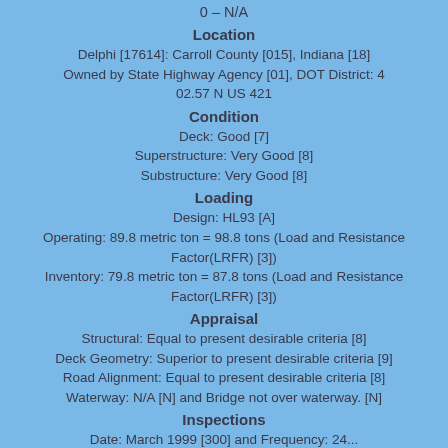0 – N/A
Location
Delphi [17614]: Carroll County [015], Indiana [18]
Owned by State Highway Agency [01], DOT District: 4
02.57 N US 421
Condition
Deck: Good [7]
Superstructure: Very Good [8]
Substructure: Very Good [8]
Loading
Design: HL93 [A]
Operating: 89.8 metric ton = 98.8 tons (Load and Resistance Factor(LRFR) [3])
Inventory: 79.8 metric ton = 87.8 tons (Load and Resistance Factor(LRFR) [3])
Appraisal
Structural: Equal to present desirable criteria [8]
Deck Geometry: Superior to present desirable criteria [9]
Road Alignment: Equal to present desirable criteria [8]
Waterway: N/A [N] and Bridge not over waterway. [N]
Inspections
Date: March 1999 [300] and Frequency: 24...